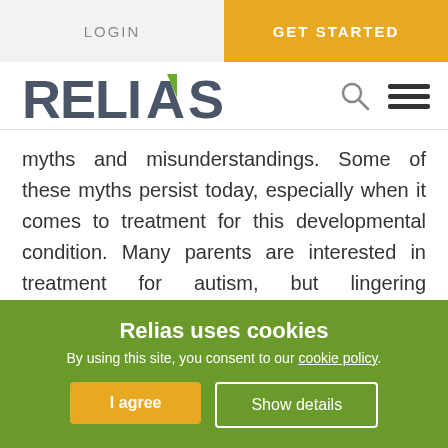LOGIN | GET STARTED
[Figure (logo): Relias logo with green arrow A lettermark, search icon and hamburger menu icon]
myths and misunderstandings. Some of these myths persist today, especially when it comes to treatment for this developmental condition. Many parents are interested in treatment for autism, but lingering misconceptions may prevent some parents from seeking help for their child. Clearing up these myths may help more children get the treatment they need for autism.
Relias uses cookies
By using this site, you consent to our cookie policy.
I agree | Show details